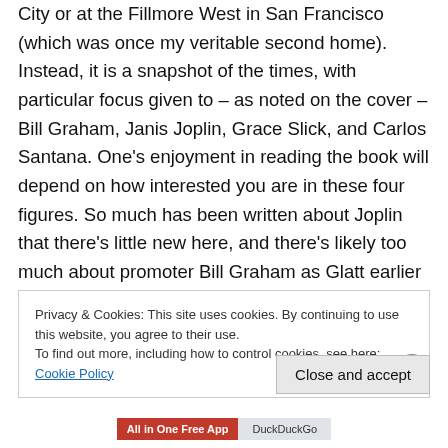City or at the Fillmore West in San Francisco (which was once my veritable second home). Instead, it is a snapshot of the times, with particular focus given to – as noted on the cover – Bill Graham, Janis Joplin, Grace Slick, and Carlos Santana. One's enjoyment in reading the book will depend on how interested you are in these four figures. So much has been written about Joplin that there's little new here, and there's likely too much about promoter Bill Graham as Glatt earlier wrote Rage & Roll: Bill Graham and the Selling of Rock.
Privacy & Cookies: This site uses cookies. By continuing to use this website, you agree to their use.
To find out more, including how to control cookies, see here: Cookie Policy
Close and accept